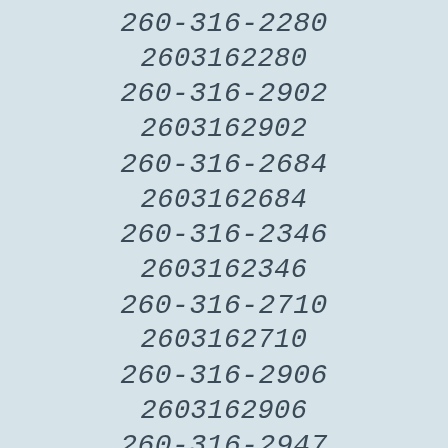260-316-2280
2603162280
260-316-2902
2603162902
260-316-2684
2603162684
260-316-2346
2603162346
260-316-2710
2603162710
260-316-2906
2603162906
260-316-2947
2603162947
260-316-2628
2603162628